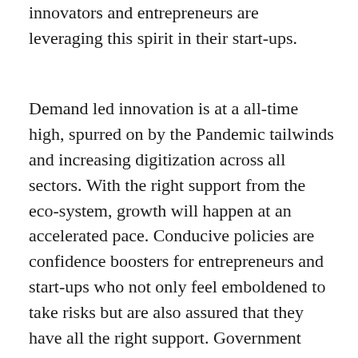innovators and entrepreneurs are leveraging this spirit in their start-ups.
Demand led innovation is at a all-time high, spurred on by the Pandemic tailwinds and increasing digitization across all sectors. With the right support from the eco-system, growth will happen at an accelerated pace. Conducive policies are confidence boosters for entrepreneurs and start-ups who not only feel emboldened to take risks but are also assured that they have all the right support. Government policies are not just about providing funding to start-ups, but also about non-financial aspects like setting up incubators, encouraging other institutions to be enablers, upgrading infrastructure and reforming redundant policies to keep up with